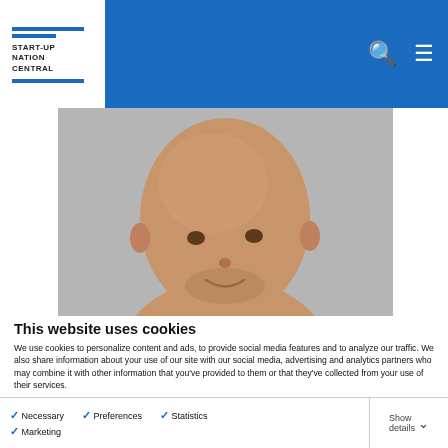[Figure (logo): Start-Up Nation Central logo with blue horizontal lines and bold text]
[Figure (photo): Bald man smiling, headshot photo on grey background]
This website uses cookies
We use cookies to personalize content and ads, to provide social media features and to analyze our traffic. We also share information about your use of our site with our social media, advertising and analytics partners who may combine it with other information that you've provided to them or that they've collected from your use of their services.
Allow all cookies
Allow selection
Use necessary cookies only
Necessary   Preferences   Statistics   Marketing   Show details